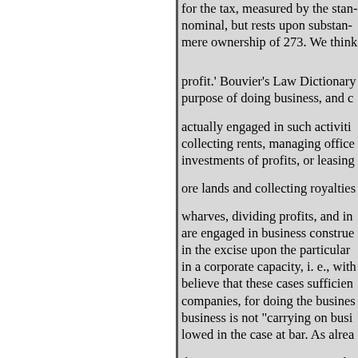for the tax, measured by the stan nominal, but rests upon substan- mere ownership of 273. We think profit.' Bouvier's Law Dictionary purpose of doing business, and c actually engaged in such activiti collecting rents, managing office investments of profits, or leasing ore lands and collecting royalties wharves, dividing profits, and in are engaged in business construe in the excise upon the particular in a corporate capacity, i. e., with believe that these cases sufficien companies, for doing the busines business is not "carrying on busi lowed in the case at bar. As alrea the traction company's acts and a all performed in Rhode exemptio said: